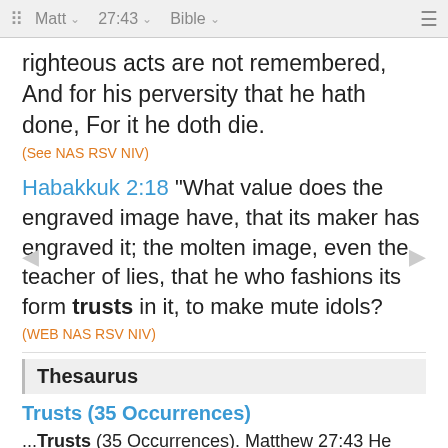Matt  27:43  Bible
righteous acts are not remembered, And for his perversity that he hath done, For it he doth die.
(See NAS RSV NIV)
Habakkuk 2:18 "What value does the engraved image have, that its maker has engraved it; the molten image, even the teacher of lies, that he who fashions its form trusts in it, to make mute idols?
(WEB NAS RSV NIV)
Thesaurus
Trusts (35 Occurrences)
...Trusts (35 Occurrences). Matthew 27:43 He trusts in God. ... John 3:15 in order that every one who trusts in Him may have the Life of the Ages." (WEY). ...
/t/trusts.htm - 15k